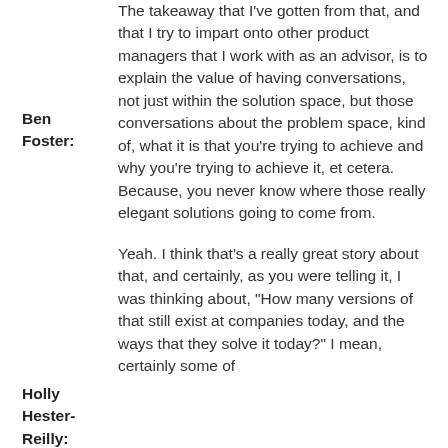Ben Foster: The takeaway that I've gotten from that, and that I try to impart onto other product managers that I work with as an advisor, is to explain the value of having conversations, not just within the solution space, but those conversations about the problem space, kind of, what it is that you're trying to achieve and why you're trying to achieve it, et cetera. Because, you never know where those really elegant solutions going to come from.
Holly Hester-Reilly: Yeah. I think that's a really great story about that, and certainly, as you were telling it, I was thinking about, "How many versions of that still exist at companies today, and the ways that they solve it today?" I mean, certainly some of